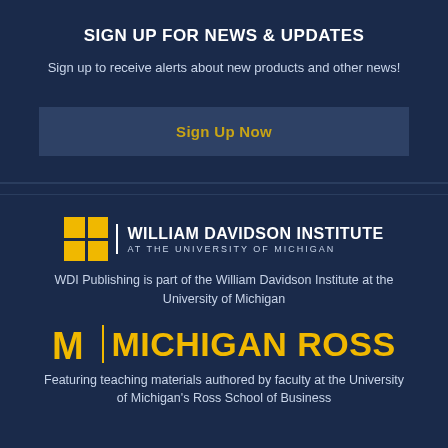SIGN UP FOR NEWS & UPDATES
Sign up to receive alerts about new products and other news!
Sign Up Now
[Figure (logo): William Davidson Institute at the University of Michigan logo — yellow 2x2 grid of squares beside text 'WILLIAM DAVIDSON INSTITUTE AT THE UNIVERSITY OF MICHIGAN']
WDI Publishing is part of the William Davidson Institute at the University of Michigan
[Figure (logo): Michigan Ross logo — yellow block M and vertical bar beside 'MICHIGAN ROSS' in bold yellow text]
Featuring teaching materials authored by faculty at the University of Michigan's Ross School of Business